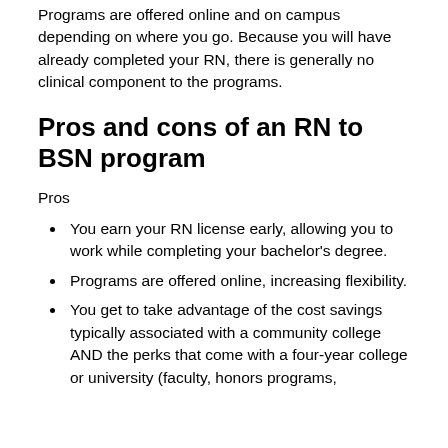Programs are offered online and on campus depending on where you go. Because you will have already completed your RN, there is generally no clinical component to the programs.
Pros and cons of an RN to BSN program
Pros
You earn your RN license early, allowing you to work while completing your bachelor's degree.
Programs are offered online, increasing flexibility.
You get to take advantage of the cost savings typically associated with a community college AND the perks that come with a four-year college or university (faculty, honors programs,